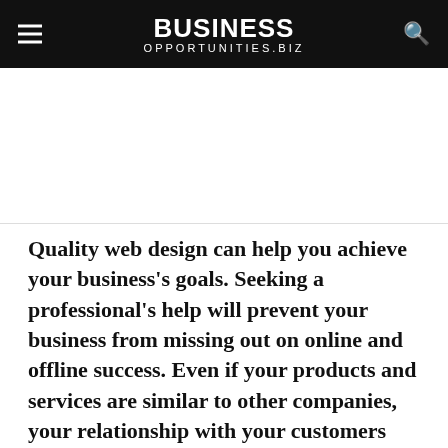BUSINESS OPPORTUNITIES.BIZ
Quality web design can help you achieve your business’s goals. Seeking a professional’s help will prevent your business from missing out on online and offline success. Even if your products and services are similar to other companies, your relationship with your customers will help you surpass them.
Conclusion